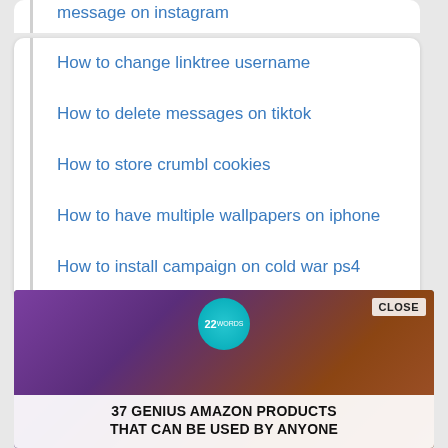message on instagram
How to change linktree username
How to delete messages on tiktok
How to store crumbl cookies
How to have multiple wallpapers on iphone
How to install campaign on cold war ps4
[Figure (photo): Advertisement banner showing purple headphones on a wooden surface with a teal circle badge and text '37 GENIUS AMAZON PRODUCTS THAT CAN BE USED BY ANYONE' with a CLOSE button]